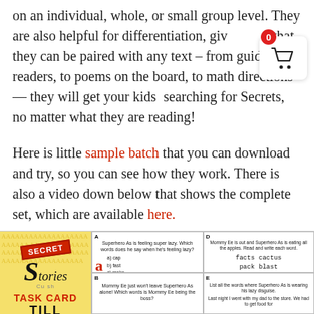on an individual, whole, or small group level. They are also helpful for differentiation, given that they can be paired with any text – from guided readers, to poems on the board, to math directions — they will get your kids  searching for Secrets, no matter what they are reading!
Here is little sample batch that you can download and try, so you can see how they work. There is also a video down below that shows the complete set, which are available here.
[Figure (illustration): Secret Stories Task Card product image showing a yellow card with 'Secret Stories' branding and letter task cards with multiple choice questions]